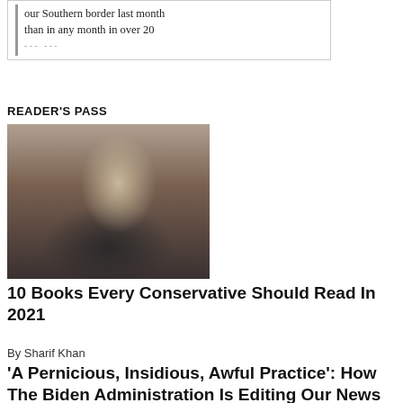our Southern border last month than in any month in over 20 years.
READER'S PASS
[Figure (photo): A man with grey hair and beard sitting in a chair, gesturing with his hands while speaking, wearing a dark jacket and red tie, with framed pictures on the wall behind him.]
10 Books Every Conservative Should Read In 2021
By Sharif Khan
'A Pernicious, Insidious, Awful Practice': How The Biden Administration Is Editing Our News